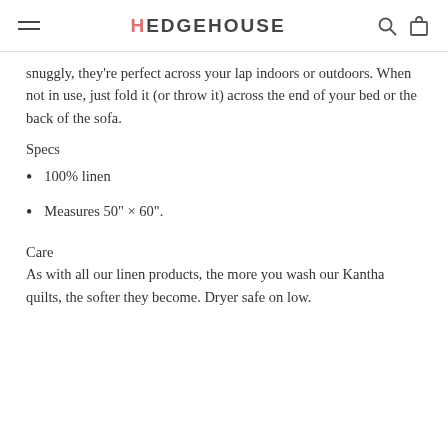HEDGEHOUSE
snuggly, they're perfect across your lap indoors or outdoors. When not in use, just fold it (or throw it) across the end of your bed or the back of the sofa.
Specs
100% linen
Measures 50" × 60".
Care
As with all our linen products, the more you wash our Kantha quilts, the softer they become. Dryer safe on low.